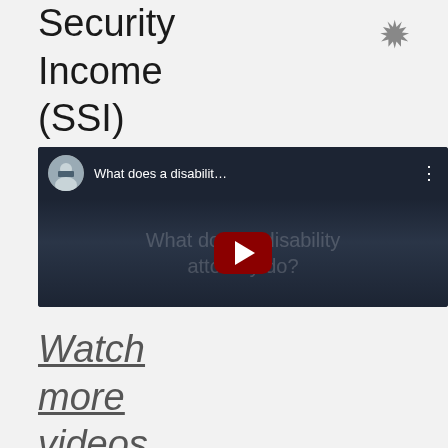Security Income (SSI) benefits.
[Figure (screenshot): YouTube video thumbnail showing a man in a suit with the title 'What does a disabilit...' and a play button]
Watch more videos...